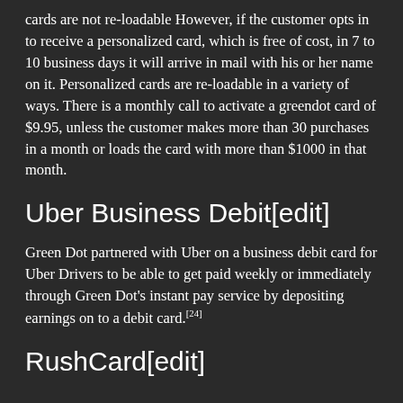cards are not re-loadable However, if the customer opts in to receive a personalized card, which is free of cost, in 7 to 10 business days it will arrive in mail with his or her name on it. Personalized cards are re-loadable in a variety of ways. There is a monthly call to activate a greendot card of $9.95, unless the customer makes more than 30 purchases in a month or loads the card with more than $1000 in that month.
Uber Business Debit[edit]
Green Dot partnered with Uber on a business debit card for Uber Drivers to be able to get paid weekly or immediately through Green Dot's instant pay service by depositing earnings on to a debit card.[24]
RushCard[edit]